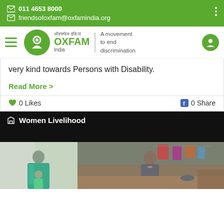011 4653 8000
friendsofoxfam@oxfamindia.org
[Figure (logo): Oxfam India logo with hamburger menu and user icon]
very kind towards Persons with Disability.
Read More >
0 Likes   0 Share
Women Livelihood
[Figure (photo): Two women standing outdoors, one in teal/green sari, another in grey/dark clothing, with laundry hanging in background]